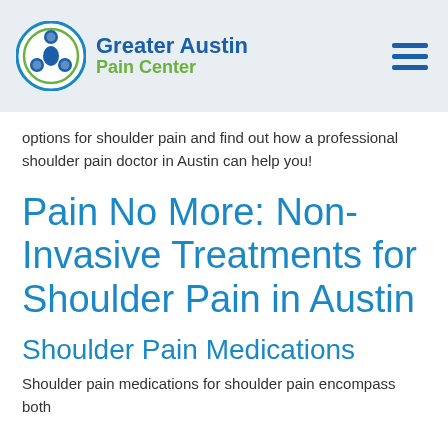Greater Austin Pain Center
options for shoulder pain and find out how a professional shoulder pain doctor in Austin can help you!
Pain No More: Non-Invasive Treatments for Shoulder Pain in Austin
Shoulder Pain Medications
Shoulder pain medications for shoulder pain encompass both